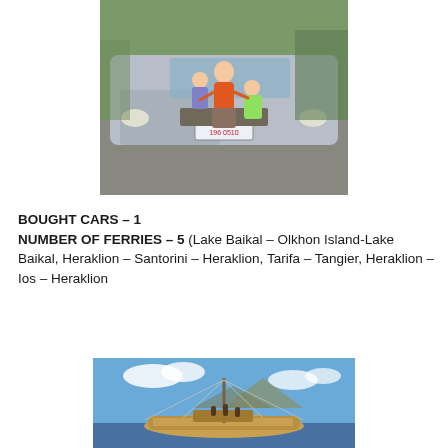[Figure (photo): Woman in orange shirt sitting on hood of silver minivan with two children, outdoors on driveway.]
BOUGHT CARS – 1
NUMBER OF FERRIES – 5 (Lake Baikal – Olkhon Island-Lake Baikal, Heraklion – Santorini – Heraklion, Tarifa – Tangier, Heraklion – Ios – Heraklion
[Figure (photo): A traditional reed boat or raft on a lake with a tall mast, blue sky with clouds in background.]